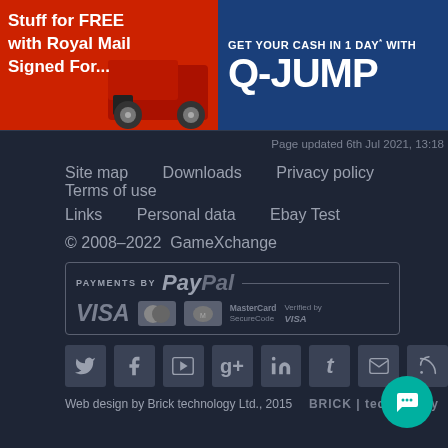[Figure (illustration): Red Royal Mail van advertisement banner with text 'Stuff for FREE with Royal Mail Signed For...']
[Figure (illustration): Blue Q-Jump advertisement banner with text 'GET YOUR CASH IN 1 DAY* WITH Q-JUMP']
Page updated 6th Jul 2021, 13:18
Site map   Downloads   Privacy policy   Terms of use
Links   Personal data   Ebay Test
© 2008–2022  GameXchange
[Figure (logo): PayPal payments banner with VISA, MasterCard, Maestro, MasterCard SecureCode, Verified by VISA logos]
[Figure (illustration): Social media icons: Twitter, Facebook, YouTube, Google+, LinkedIn, Tumblr, Email, RSS]
Web design by Brick technology Ltd., 2015   BRICK | technology